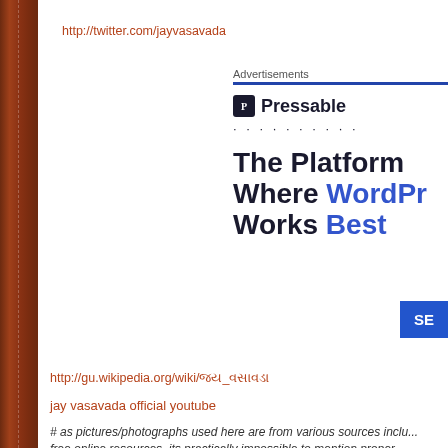http://twitter.com/jayvasavada
[Figure (screenshot): Pressable advertisement banner showing 'The Platform Where WordPress Works Best' with a blue SE button]
http://gu.wikipedia.org/wiki/જય_વસાવડા
jay vasavada official youtube
# as pictures/photographs used here are from various sources inclu... free online resources, its practically impossible to mention proper...